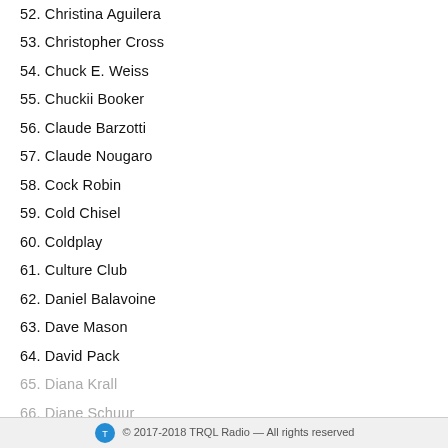52. Christina Aguilera
53. Christopher Cross
54. Chuck E. Weiss
55. Chuckii Booker
56. Claude Barzotti
57. Claude Nougaro
58. Cock Robin
59. Cold Chisel
60. Coldplay
61. Culture Club
62. Daniel Balavoine
63. Dave Mason
64. David Pack
65. Diana Krall
66. Diane Schuur
© 2017-2018 TRQL Radio — All rights reserved